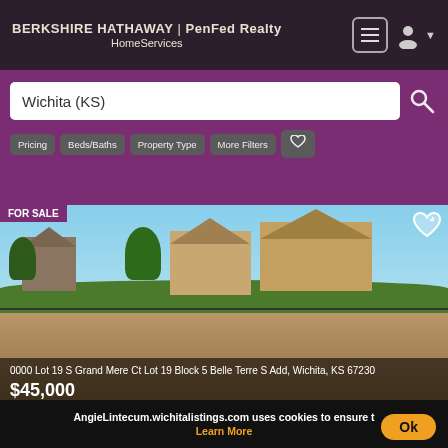BERKSHIRE HATHAWAY | PenFed Realty HomeServices
Wichita (KS)
Pricing
Beds/Baths
Property Type
More Filters
[Figure (photo): Real estate listing photo showing residential lot with houses and open field in Wichita, KS]
FOR SALE
0000 Lot 19 S Grand Mere Ct Lot 19 Block 5 Belle Terre S Add, Wichita, KS 67230
$45,000
Berkshire Hathaway PenFed Realty
[Figure (photo): Second real estate listing photo showing measuring tape on green leaves]
FOR SALE
AngieLintecum.wichitalistings.com uses cookies to ensure t
Learn More
Ok